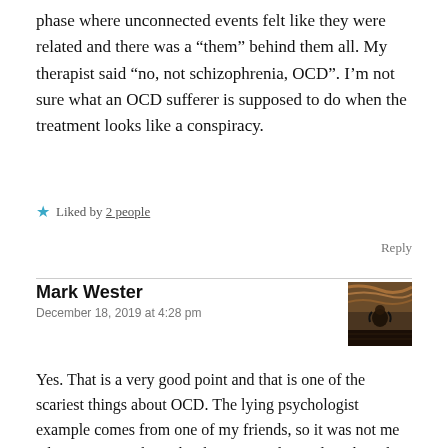phase where unconnected events felt like they were related and there was a “them” behind them all. My therapist said “no, not schizophrenia, OCD”. I’m not sure what an OCD sufferer is supposed to do when the treatment looks like a conspiracy.
★ Liked by 2 people
Reply
Mark Wester
December 18, 2019 at 4:28 pm
Yes. That is a very good point and that is one of the scariest things about OCD. The lying psychologist example comes from one of my friends, so it was not me who was going through it but it scared me a lot when she told me.
One thing that works with me is: being angry at my thoughts.
[Figure (photo): Small avatar thumbnail showing a dark painting (The Scream style) used as commenter profile picture]